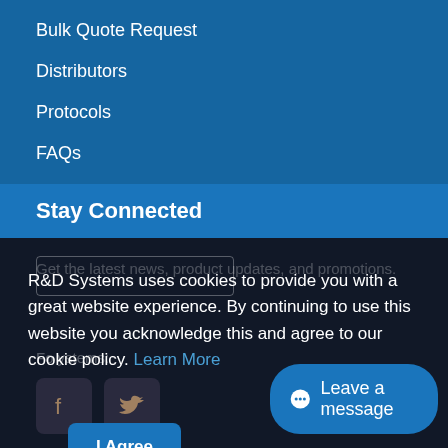Bulk Quote Request
Distributors
Protocols
FAQs
Stay Connected
R&D Systems uses cookies to provide you with a great website experience. By continuing to use this website you acknowledge this and agree to our cookie policy. Learn More
I Agree
Leave a message